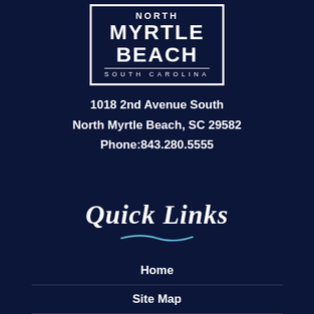[Figure (logo): North Myrtle Beach South Carolina city logo — white text on dark navy with border]
1018 2nd Avenue South
North Myrtle Beach, SC 29582
Phone:843.280.5555
Quick Links
Home
Site Map
Copyright Notices